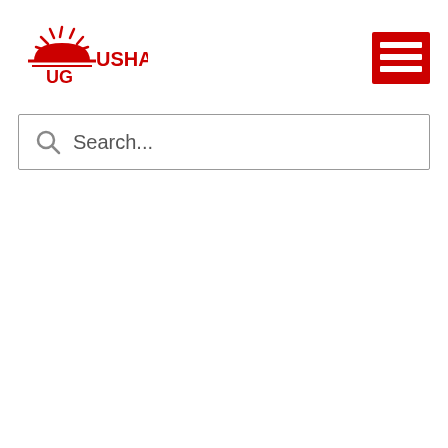[Figure (logo): Usha Gold logo with red sun/sunburst graphic, text 'UG' and 'USHA GOLD' in red]
[Figure (other): Red hamburger menu icon (three horizontal white lines on red background)]
Search...